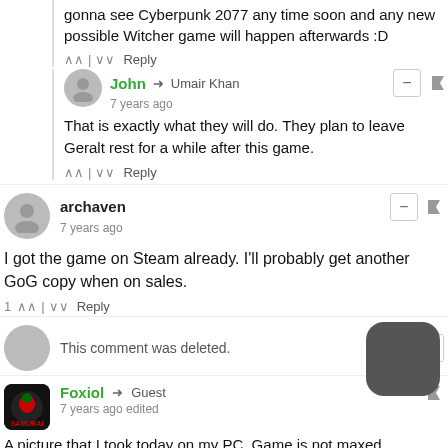gonna see Cyberpunk 2077 any time soon and any new possible Witcher game will happen afterwards :D
∧ | ∨ Reply
John → Umair Khan
7 years ago
That is exactly what they will do. They plan to leave Geralt rest for a while after this game.
∧ | ∨ Reply
archaven
7 years ago
I got the game on Steam already. I'll probably get another GoG copy when on sales.
1 ∧ | ∨ Reply
This comment was deleted.
Foxiol → Guest
7 years ago edited
A picture that I took today on my PC. Game is not maxed (GTX560Ti OC 1GB I had to lower my resolution to 1360x768p